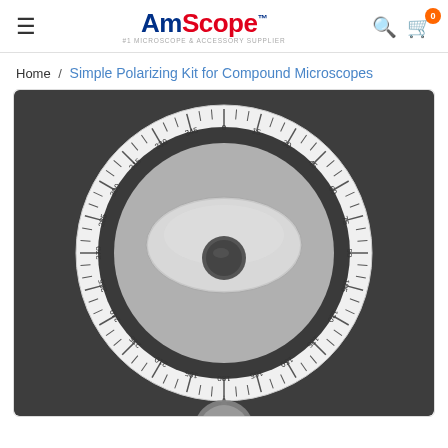AmScope — #1 MICROSCOPE & ACCESSORY SUPPLIER
Home / Simple Polarizing Kit for Compound Microscopes
[Figure (photo): Product photo of a Simple Polarizing Kit for Compound Microscopes — a circular polarizing filter with degree markings (0 through 360) mounted on a black rectangular base, with a metallic central mechanism.]